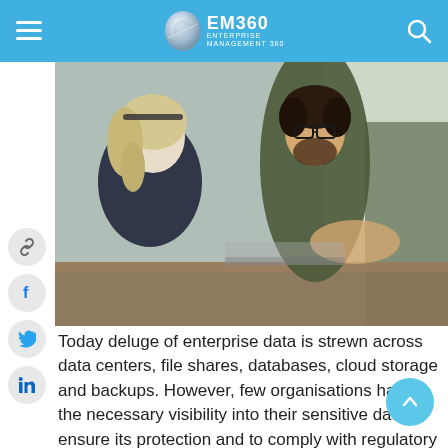EM360 ENTERPRISE MANAGEMENT 360
[Figure (photo): Two colleagues sitting at a table in an office setting. A man with glasses and a beard gestures while talking to a woman with blonde hair. Both appear engaged in a business conversation over a laptop.]
Today deluge of enterprise data is strewn across data centers, file shares, databases, cloud storage and backups. However, few organisations have the necessary visibility into their sensitive data to ensure its protection and to comply with regulatory requirements.